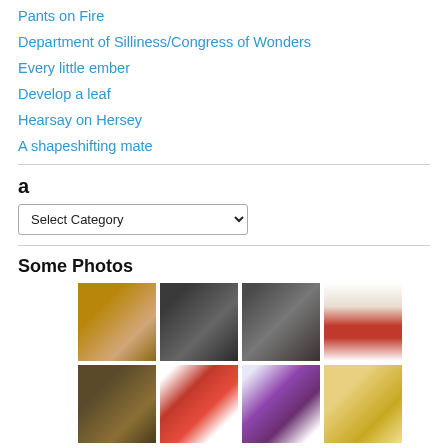Pants on Fire
Department of Silliness/Congress of Wonders
Every little ember
Develop a leaf
Hearsay on Hersey
A shapeshifting mate
a
Select Category
Some Photos
[Figure (photo): Food items including cheeses and spreads on a wicker/wooden surface]
[Figure (photo): Black and white vintage photo of a person]
[Figure (photo): Black and white vintage photo of a reclining figure]
[Figure (photo): Laura Chenel fresh goat cheese - Fig & Grapefruit packaging]
[Figure (photo): Baked goods or bread]
[Figure (photo): Bufala product packaging]
[Figure (photo): Cheese triangles product packaging]
[Figure (photo): Yellow/orange cheese or food item]